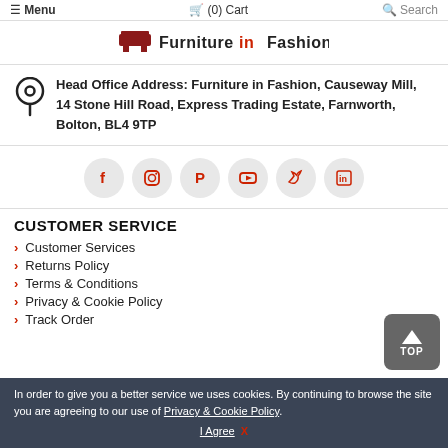Menu  (0) Cart  Search
[Figure (logo): Furniture in Fashion logo with red furniture icon and text]
Head Office Address: Furniture in Fashion, Causeway Mill, 14 Stone Hill Road, Express Trading Estate, Farnworth, Bolton, BL4 9TP
[Figure (infographic): Social media icon buttons: Facebook, Instagram, Pinterest, YouTube, Twitter, LinkedIn]
CUSTOMER SERVICE
Customer Services
Returns Policy
Terms & Conditions
Privacy & Cookie Policy
Track Order
In order to give you a better service we uses cookies. By continuing to browse the site you are agreeing to our use of Privacy & Cookie Policy.
I Agree  X